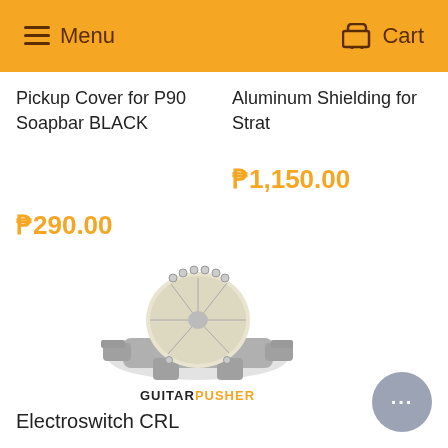Menu | Cart
Pickup Cover for P90 Soapbar BLACK
₱290.00
Aluminum Shielding for Strat
₱1,150.00
[Figure (photo): Electroswitch CRL rotary switch component, silver metallic, viewed from above at an angle]
GUITARPUSHER
Electroswitch CRL